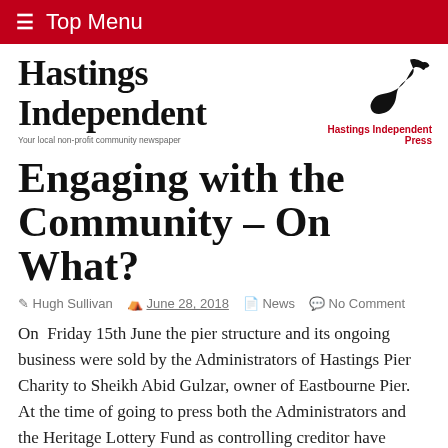☰ Top Menu
[Figure (logo): Hastings Independent newspaper logo with bird illustration. Text: 'Hastings Independent', 'Your local non-profit community newspaper', 'Hastings Independent Press']
Engaging with the Community – On What?
Hugh Sullivan  June 28, 2018  News  No Comment
On  Friday 15th June the pier structure and its ongoing business were sold by the Administrators of Hastings Pier Charity to Sheikh Abid Gulzar, owner of Eastbourne Pier. At the time of going to press both the Administrators and the Heritage Lottery Fund as controlling creditor have